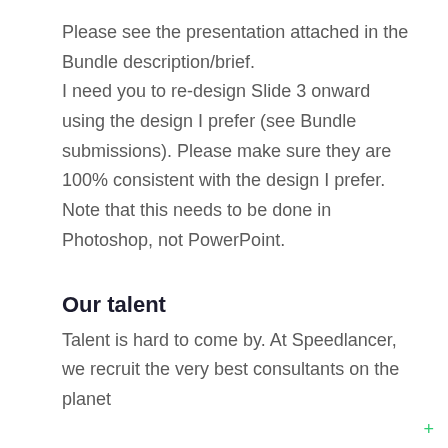Please see the presentation attached in the Bundle description/brief. I need you to re-design Slide 3 onward using the design I prefer (see Bundle submissions). Please make sure they are 100% consistent with the design I prefer. Note that this needs to be done in Photoshop, not PowerPoint.
Our talent
Talent is hard to come by. At Speedlancer, we recruit the very best consultants on the planet